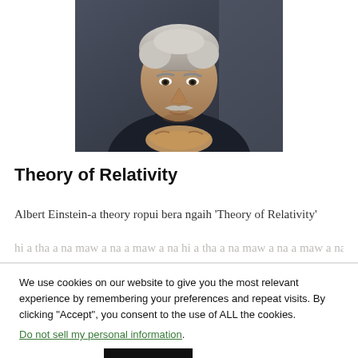[Figure (photo): Black and white / color photograph of an elderly Albert Einstein with his hands clasped together, looking thoughtful, wearing a dark turtleneck sweater.]
Theory of Relativity
Albert Einstein-a theory ropui bera ngaih 'Theory of Relativity'
We use cookies on our website to give you the most relevant experience by remembering your preferences and repeat visits. By clicking "Accept", you consent to the use of ALL the cookies.
Do not sell my personal information.
Cookie settings
ACCEPT